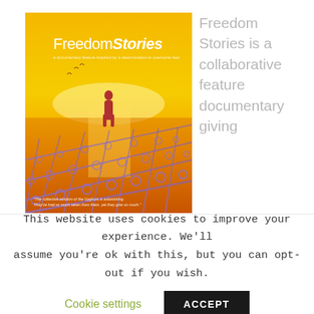[Figure (photo): Movie poster for 'FreedomStories' showing a silhouette of a person standing in water at sunset with barbed wire fence in the foreground. Text at bottom quotes about the Uyghur people.]
Freedom Stories is a collaborative feature documentary giving
This website uses cookies to improve your experience. We'll assume you're ok with this, but you can opt-out if you wish.
Cookie settings   ACCEPT